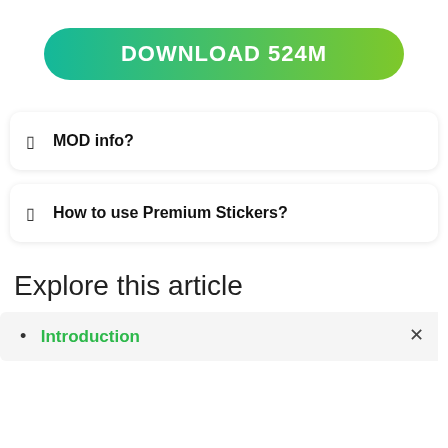[Figure (other): Green gradient download button with text DOWNLOAD 524M]
MOD info?
How to use Premium Stickers?
Explore this article
Introduction